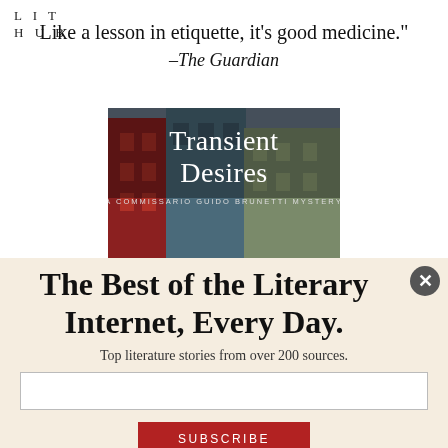LIT HUB
Like a lesson in etiquette, it’s good medicine.”
–The Guardian
[Figure (illustration): Book cover of 'Transient Desires: A Commissario Guido Brunetti Mystery' showing colorful Venetian buildings]
The Best of the Literary Internet, Every Day.
Top literature stories from over 200 sources.
SUBSCRIBE